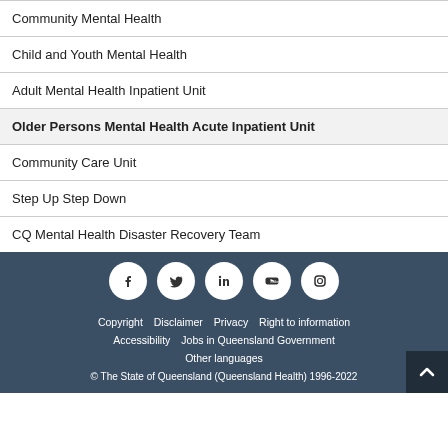Community Mental Health
Child and Youth Mental Health
Adult Mental Health Inpatient Unit
Older Persons Mental Health Acute Inpatient Unit
Community Care Unit
Step Up Step Down
CQ Mental Health Disaster Recovery Team
[Figure (other): Social media icons: Facebook, Twitter, LinkedIn, YouTube, Instagram]
Copyright   Disclaimer   Privacy   Right to information   Accessibility   Jobs in Queensland Government   Other languages   © The State of Queensland (Queensland Health) 1996-2022